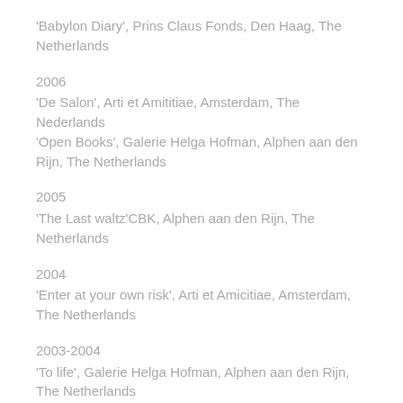'Babylon Diary', Prins Claus Fonds, Den Haag, The Netherlands
2006
'De Salon', Arti et Amititiae, Amsterdam, The Nederlands
'Open Books', Galerie Helga Hofman, Alphen aan den Rijn, The Netherlands
2005
'The Last waltz'CBK, Alphen aan den Rijn, The Netherlands
2004
'Enter at your own risk', Arti et Amicitiae, Amsterdam, The Netherlands
2003-2004
'To life', Galerie Helga Hofman, Alphen aan den Rijn, The Netherlands
2003
'Light, Air & Drama: landscapes from the collection of the museum', with a.o. Armando, Marijke van Warmerdam